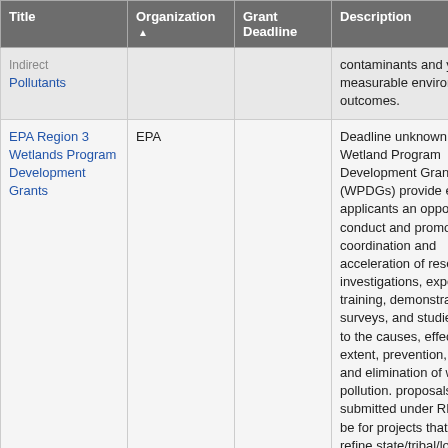| Title | Organization ▲ | Grant Deadline | Description |
| --- | --- | --- | --- |
| Indirect Pollutants |  |  | contaminants and yield measurable environmental outcomes. |
| EPA Region 3 Wetlands Program Development Grants | EPA |  | Deadline unknown for 2017. Wetland Program Development Grants (WPDGs) provide eligible applicants an opportunity to conduct and promote the coordination and acceleration of research, investigations, experiments, training, demonstrations, surveys, and studies relating to the causes, effects, extent, prevention, reduction, and elimination of water pollution. proposals submitted under RFP must be for projects that build or refine state/tribal/local government wetland programs. Implementation of wetland |